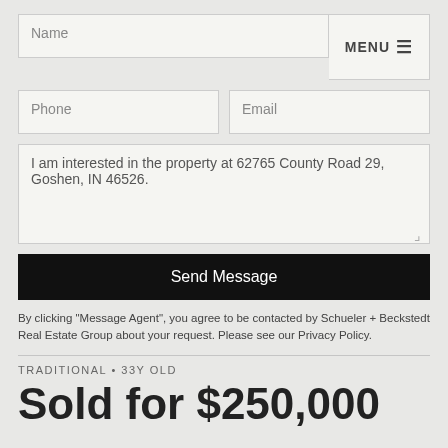Name
MENU ☰
Phone
Email
I am interested in the property at 62765 County Road 29, Goshen, IN 46526.
Send Message
By clicking "Message Agent", you agree to be contacted by Schueler + Beckstedt Real Estate Group about your request. Please see our Privacy Policy.
TRADITIONAL • 33Y OLD
Sold for $250,000